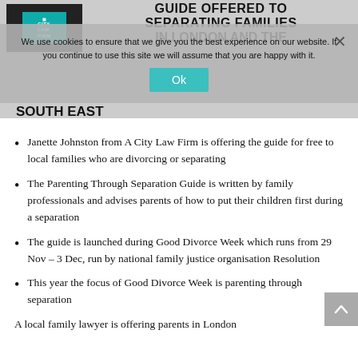[Figure (logo): A City Law Firm logo — dark background with teal inner logo block]
GUIDE OFFERED TO SEPARATING FAMILIES IN LONDON AND THE SOUTH EAST
We use cookies to ensure that we give you the best experience on our website. If you continue to use this site we will assume that you are happy with it.
Janette Johnston from A City Law Firm is offering the guide for free to local families who are divorcing or separating
The Parenting Through Separation Guide is written by family professionals and advises parents of how to put their children first during a separation
The guide is launched during Good Divorce Week which runs from 29 Nov – 3 Dec, run by national family justice organisation Resolution
This year the focus of Good Divorce Week is parenting through separation
A local family lawyer is offering parents in London